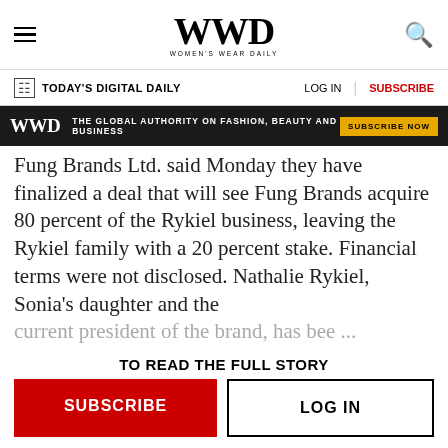WWD WOMEN'S WEAR DAILY
TODAY'S DIGITAL DAILY | LOG IN | SUBSCRIBE
[Figure (infographic): WWD ad banner: THE GLOBAL AUTHORITY ON FASHION, BEAUTY AND BUSINESS | SUBSCRIBE NOW]
Fung Brands Ltd. said Monday they have finalized a deal that will see Fung Brands acquire 80 percent of the Rykiel business, leaving the Rykiel family with a 20 percent stake. Financial terms were not disclosed. Nathalie Rykiel, Sonia's daughter and the current president of the brand, has bee ...
TO READ THE FULL STORY
SUBSCRIBE | LOG IN
[Figure (logo): WWD logo at bottom of page]